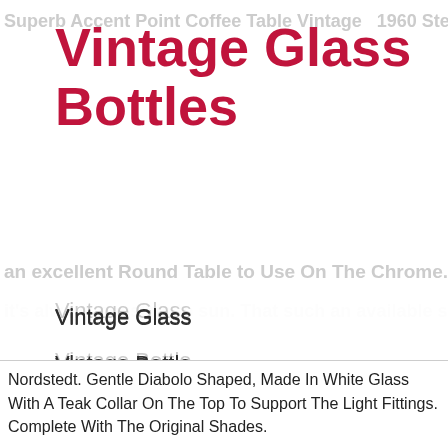Vintage Glass Bottles
Vintage Glass
Vintage Bottle
Antique Decanter
Glass Decanter
Porcelain Decanter
Antique Bottle
Nordstedt. Gentle Diabolo Shaped, Made In White Glass With A Teak Collar On The Top To Support The Light Fittings. Complete With The Original Shades.